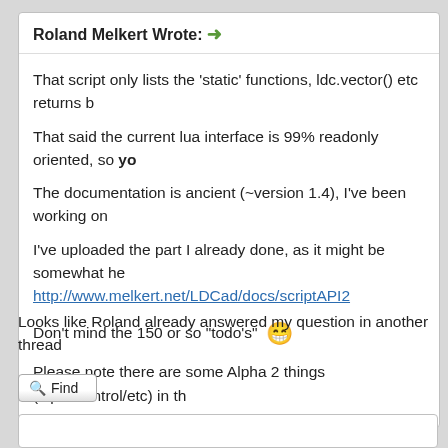Roland Melkert Wrote: →
That script only lists the 'static' functions, ldc.vector() etc returns b
That said the current lua interface is 99% readonly oriented, so yo
The documentation is ancient (~version 1.4), I've been working on
I've uploaded the part I already done, as it might be somewhat he
http://www.melkert.net/LDCad/docs/scriptAPI2
Don't mind the 150 or so "todo's" 😁
Please note there are some Alpha 2 things (input/control/etc) in th
Looks like Roland already answered my question in another thread
Find